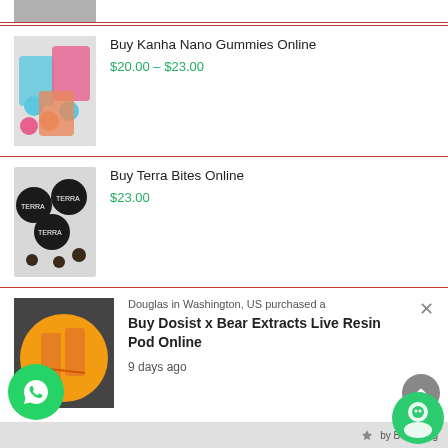[Figure (photo): Partial product thumbnail at top of page]
[Figure (photo): Kanha Nano Gummies colorful candy packages with loose gummies]
Buy Kanha Nano Gummies Online
$20.00 – $23.00
[Figure (photo): Terra Bites chocolate cannabis edibles in round tins]
Buy Terra Bites Online
$23.00
[Figure (photo): Actavis Diazepam 10mg tablets box]
Buy Actavis Diazepam 10mg Online 28 Tablets Per Pack
Douglas in Washington, US purchased a
Buy Dosist x Bear Extracts Live Resin Pod Online
9 days ago
by Beeketing